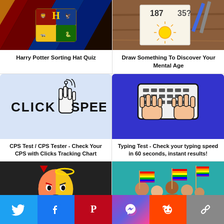[Figure (screenshot): Harry Potter Hogwarts crest with house colors]
Harry Potter Sorting Hat Quiz
[Figure (screenshot): Drawing on paper with numbers 187 35 and a sun, pencils on wood table]
Draw Something To Discover Your Mental Age
[Figure (screenshot): Click Speed logo with pointer hand icon on light blue background]
CPS Test / CPS Tester - Check Your CPS with Clicks Tracking Chart
[Figure (screenshot): Two hands typing on keyboard icon on dark blue background]
Typing Test - Check your typing speed in 60 seconds, instant results!
[Figure (screenshot): Devil/angel emoji on dark background]
[Figure (screenshot): People waving rainbow pride flags on teal background]
[Figure (infographic): Social share bar with Twitter, Facebook, Pinterest, Messenger, Reddit, Link buttons]